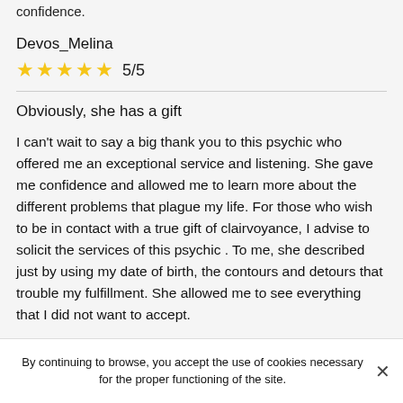confidence.
Devos_Melina
★★★★★ 5/5
Obviously, she has a gift
I can't wait to say a big thank you to this psychic who offered me an exceptional service and listening. She gave me confidence and allowed me to learn more about the different problems that plague my life. For those who wish to be in contact with a true gift of clairvoyance, I advise to solicit the services of this psychic . To me, she described just by using my date of birth, the contours and detours that trouble my fulfillment. She allowed me to see everything that I did not want to accept.
By continuing to browse, you accept the use of cookies necessary for the proper functioning of the site.